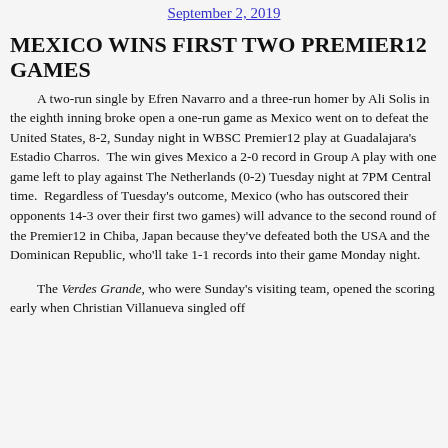September 2, 2019
MEXICO WINS FIRST TWO PREMIER12 GAMES
A two-run single by Efren Navarro and a three-run homer by Ali Solis in the eighth inning broke open a one-run game as Mexico went on to defeat the United States, 8-2, Sunday night in WBSC Premier12 play at Guadalajara's Estadio Charros.  The win gives Mexico a 2-0 record in Group A play with one game left to play against The Netherlands (0-2) Tuesday night at 7PM Central time.  Regardless of Tuesday's outcome, Mexico (who has outscored their opponents 14-3 over their first two games) will advance to the second round of the Premier12 in Chiba, Japan because they've defeated both the USA and the Dominican Republic, who'll take 1-1 records into their game Monday night.
The Verdes Grande, who were Sunday's visiting team, opened the scoring early when Christian Villanueva singled off